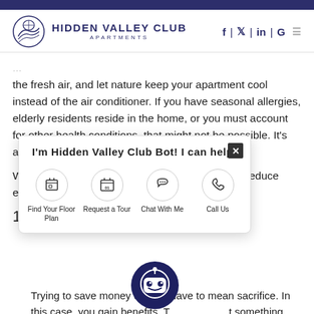Hidden Valley Club Apartments
the fresh air, and let nature keep your apartment cool instead of the air conditioner. If you have seasonal allergies, elderly residents reside in the home, or you must account for other health conditions, that might not be possible. It's also not ideal if the temperature gets too high.
When that h... to reduce expe... o.
1. Enjoy th...
[Figure (screenshot): Chatbot popup for Hidden Valley Club Bot with options: Find Your Floor Plan, Request a Tour, Chat With Me, Call Us]
Trying to save money doesn't have to mean sacrifice. In this case, you gain benefits. T... something about a ceiling fan that's comfortu... ing, and almost nostalgic. Clearly, it's also a great way to cool down your home, which